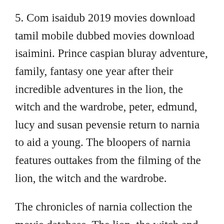5. Com isaidub 2019 movies download tamil mobile dubbed movies download isaimini. Prince caspian bluray adventure, family, fantasy one year after their incredible adventures in the lion, the witch and the wardrobe, peter, edmund, lucy and susan pevensie return to narnia to aid a young. The bloopers of narnia features outtakes from the filming of the lion, the witch and the wardrobe.
The chronicles of narnia collection the movie database. The lion, the witch and the